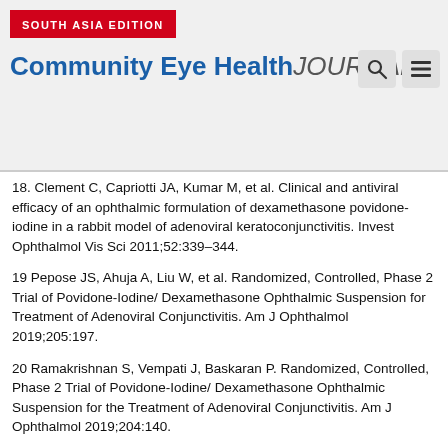SOUTH ASIA EDITION
Community Eye Health JOURNAL
18. Clement C, Capriotti JA, Kumar M, et al. Clinical and antiviral efficacy of an ophthalmic formulation of dexamethasone povidone-iodine in a rabbit model of adenoviral keratoconjunctivitis. Invest Ophthalmol Vis Sci 2011;52:339–344.
19 Pepose JS, Ahuja A, Liu W, et al. Randomized, Controlled, Phase 2 Trial of Povidone-Iodine/ Dexamethasone Ophthalmic Suspension for Treatment of Adenoviral Conjunctivitis. Am J Ophthalmol 2019;205:197.
20 Ramakrishnan S, Vempati J, Baskaran P. Randomized, Controlled, Phase 2 Trial of Povidone-Iodine/ Dexamethasone Ophthalmic Suspension for the Treatment of Adenoviral Conjunctivitis. Am J Ophthalmol 2019;204:140.
21 Romanowski EG, Roba LA, Wiley L, et al. The effects of corticosteroids of adenoviral replication. Arch Ophthalmol 1996;114:581–585.